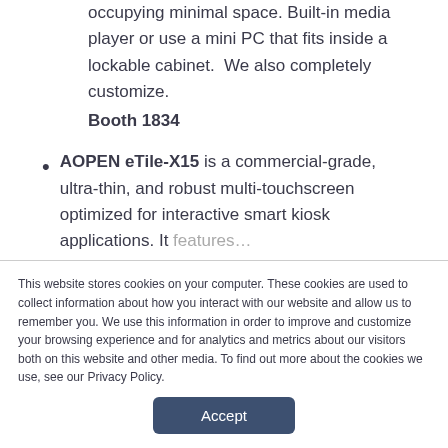occupying minimal space. Built-in media player or use a mini PC that fits inside a lockable cabinet.  We also completely customize.
Booth 1834
AOPEN eTile-X15 is a commercial-grade, ultra-thin, and robust multi-touchscreen optimized for interactive smart kiosk applications. It features…
This website stores cookies on your computer. These cookies are used to collect information about how you interact with our website and allow us to remember you. We use this information in order to improve and customize your browsing experience and for analytics and metrics about our visitors both on this website and other media. To find out more about the cookies we use, see our Privacy Policy.
Accept